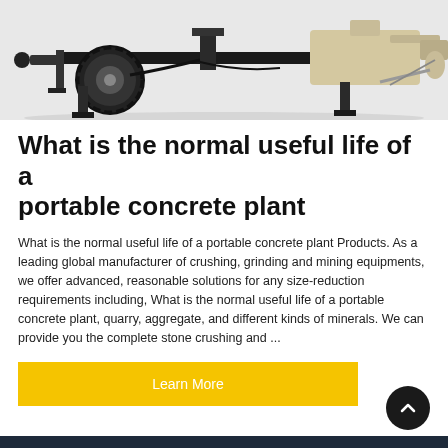[Figure (photo): Close-up underside view of a portable concrete plant / construction machinery showing wheels, axle, hydraulic legs, and mechanical components on a white studio background.]
What is the normal useful life of a portable concrete plant
What is the normal useful life of a portable concrete plant Products. As a leading global manufacturer of crushing, grinding and mining equipments, we offer advanced, reasonable solutions for any size-reduction requirements including, What is the normal useful life of a portable concrete plant, quarry, aggregate, and different kinds of minerals. We can provide you the complete stone crushing and ...
Learn More